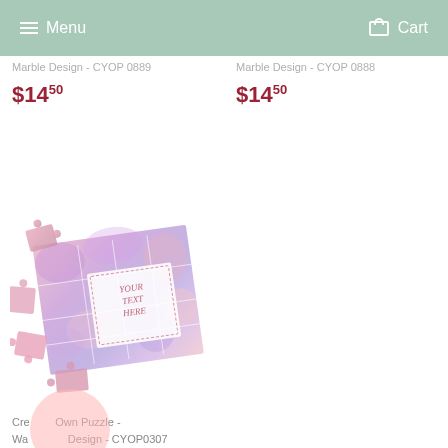Menu  Cart
Marble Design - CYOP0889
$14.50
Marble Design - CYOP0888
$14.50
[Figure (photo): Colorful watercolor/tie-dye design puzzle with some pieces separated, center area says YOUR TEXT HERE]
Create Your Own Puzzle - Watercolor Design - CYOP0307
$14.50